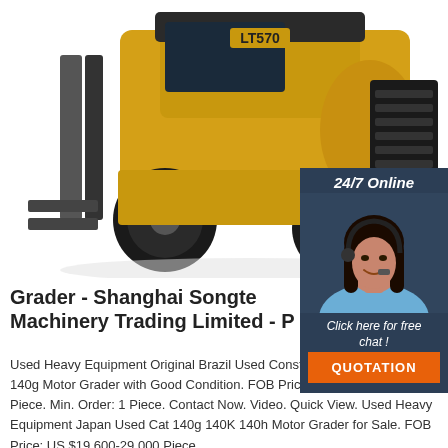[Figure (photo): Yellow LT570 forklift truck on white background, side-angle view showing large black tires and forks]
[Figure (photo): Customer service agent - woman with headset smiling, with 24/7 Online banner, 'Click here for free chat!' text, and orange QUOTATION button on dark blue panel]
Grader - Shanghai Songte Machinery Trading Limited - P
Used Heavy Equipment Original Brazil Used Construction Machinery Cat 140g Motor Grader with Good Condition. FOB Price: US $19,500-29,000 Piece. Min. Order: 1 Piece. Contact Now. Video. Quick View. Used Heavy Equipment Japan Used Cat 140g 140K 140h Motor Grader for Sale. FOB Price: US $19,600-29,000 Piece.